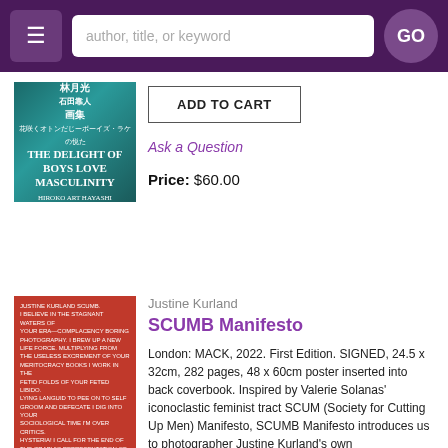≡  author, title, or keyword  GO
[Figure (photo): Book cover: The Delight of Boys Love Masculinity by Hayashi, teal/dark cover with Japanese text and English subtitle]
ADD TO CART
Ask a Question
Price: $60.00
[Figure (photo): Book cover: SCUMB Manifesto by Justine Kurland, red/orange cover with dense white text]
Justine Kurland
SCUMB Manifesto
London: MACK, 2022. First Edition. SIGNED, 24.5 x 32cm, 282 pages, 48 x 60cm poster inserted into back coverbook. Inspired by Valerie Solanas' iconoclastic feminist tract SCUM (Society for Cutting Up Men) Manifesto, SCUMB Manifesto introduces us to photographer Justine Kurland's own uncompromising